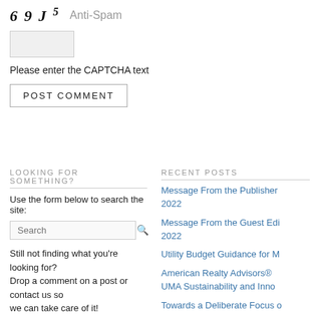[Figure (other): CAPTCHA image showing characters: 6 9 J 5, with 'Anti-Spam' label to the right]
[Figure (other): Empty CAPTCHA text input box]
Please enter the CAPTCHA text
POST COMMENT
LOOKING FOR SOMETHING?
Use the form below to search the site:
Still not finding what you're looking for? Drop a comment on a post or contact us so we can take care of it!
RECENT POSTS
Message From the Publisher 2022
Message From the Guest Edi 2022
Utility Budget Guidance for M
American Realty Advisors® UMA Sustainability and Inno
Towards a Deliberate Focus on Excellence: Lessons in Comm Management